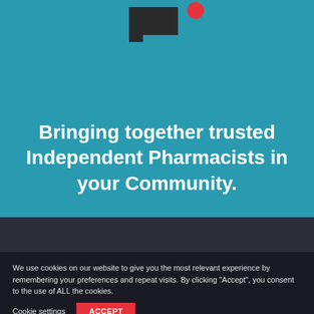[Figure (logo): Partial view of a dark pharmacy/app logo icon with arrow/checkmark shapes on teal background with a red circle accent]
Bringing together trusted Independent Pharmacists in your Community.
We use cookies on our website to give you the most relevant experience by remembering your preferences and repeat visits. By clicking “Accept”, you consent to the use of ALL the cookies.
Cookie settings
ACCEPT